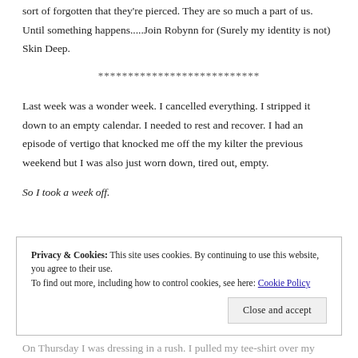sort of forgotten that they're pierced. They are so much a part of us. Until something happens.....Join Robynn for (Surely my identity is not) Skin Deep.
***************************
Last week was a wonder week. I cancelled everything. I stripped it down to an empty calendar. I needed to rest and recover. I had an episode of vertigo that knocked me off the my kilter the previous weekend but I was also just worn down, tired out, empty.
So I took a week off.
Privacy & Cookies: This site uses cookies. By continuing to use this website, you agree to their use.
To find out more, including how to control cookies, see here: Cookie Policy
Close and accept
On Thursday I was dressing in a rush. I pulled my tee-shirt over my